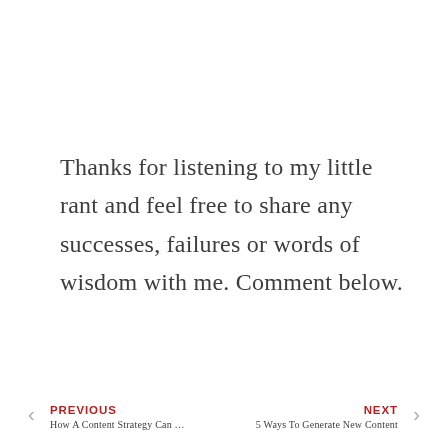Thanks for listening to my little rant and feel free to share any successes, failures or words of wisdom with me. Comment below.
PREVIOUS | How A Content Strategy Can ... | NEXT | 5 Ways To Generate New Content